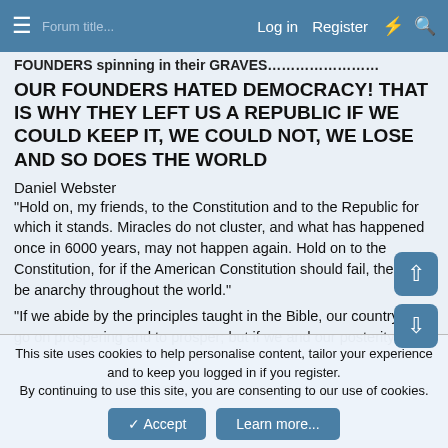Log in  Register
FOUNDERS spinning in their GRAVES………………….
OUR FOUNDERS HATED DEMOCRACY! THAT IS WHY THEY LEFT US A REPUBLIC IF WE COULD KEEP IT, WE COULD NOT, WE LOSE AND SO DOES THE WORLD
Daniel Webster
"Hold on, my friends, to the Constitution and to the Republic for which it stands. Miracles do not cluster, and what has happened once in 6000 years, may not happen again. Hold on to the Constitution, for if the American Constitution should fail, there will be anarchy throughout the world."
"If we abide by the principles taught in the Bible, our country will go on prospering and to prosper; but if we and our posterity
This site uses cookies to help personalise content, tailor your experience and to keep you logged in if you register.
By continuing to use this site, you are consenting to our use of cookies.